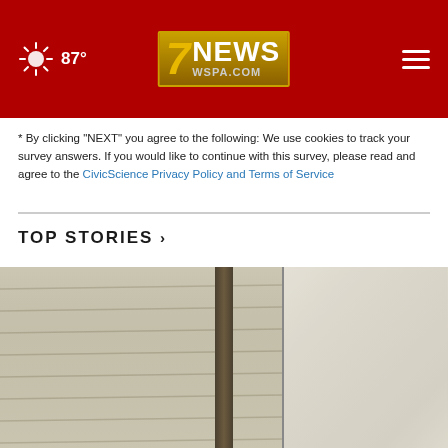87° [WSPA 7NEWS logo] [menu icon]
* By clicking "NEXT" you agree to the following: We use cookies to track your survey answers. If you would like to continue with this survey, please read and agree to the CivicScience Privacy Policy and Terms of Service
TOP STORIES ›
[Figure (photo): Close-up photograph of house siding/clapboard in beige/cream color with a dark vertical seam or gap dividing the frame, and a lighter blurred section on the right side suggesting a window or doorframe]